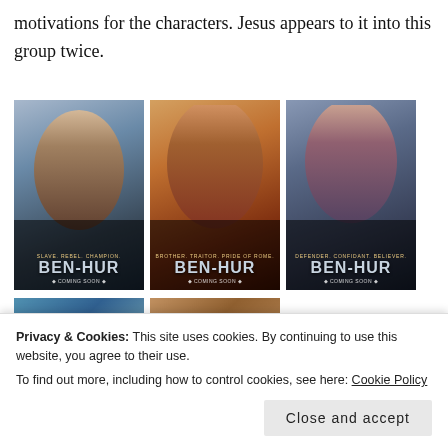motivations for the characters. Jesus appears to it into this group twice.
[Figure (photo): Three Ben-Hur movie character posters side by side. Left: 'Slave. Rebel. Champion.' featuring a young man. Center: 'Brother. Traitor. Pride of Rome.' featuring a Roman soldier in armor. Right: 'Defender. Confidant. Believer.' featuring a young woman. All say 'BEN-HUR' and 'Coming Soon'.]
[Figure (photo): Partial view of additional Ben-Hur posters partially obscured by cookie consent banner.]
Privacy & Cookies: This site uses cookies. By continuing to use this website, you agree to their use.
To find out more, including how to control cookies, see here: Cookie Policy